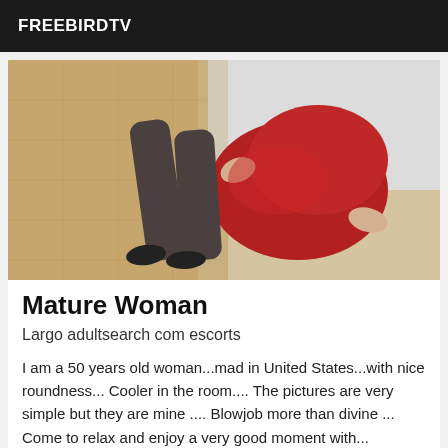FREEBIRDTV
[Figure (photo): A woman lying on a wooden floor wearing a red dress and dark stockings with black heels, photographed from above]
Mature Woman
Largo adultsearch com escorts
I am a 50 years old woman...mad in United States...with nice roundness... Cooler in the room.... The pictures are very simple but they are mine .... Blowjob more than divine ... Come to relax and enjoy a very good moment with ...